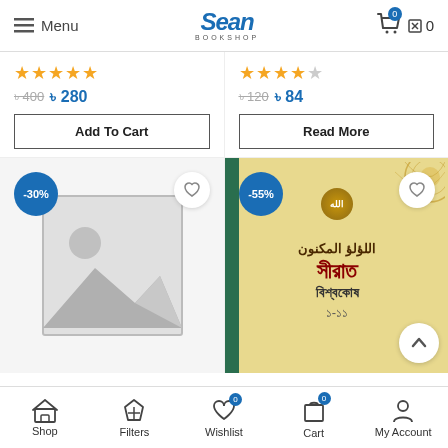Menu | SEAN BOOKSHOP | Cart 0
★★★★★ ৳400 ৳280
★★★★½ ৳120 ৳84
Add To Cart
Read More
[Figure (photo): Left product card with -30% discount badge, placeholder image (mountain/landscape placeholder), and heart wishlist button]
[Figure (photo): Right product card with -55% discount badge, book cover with Arabic/Bengali text (Sirat Bishwakosh), ornamental Islamic design, and heart wishlist button]
Shop | Filters | Wishlist 0 | Cart 0 | My Account